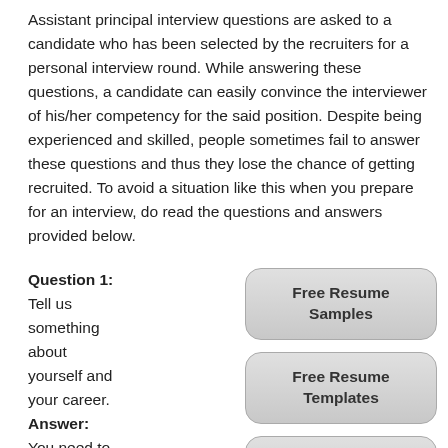Assistant principal interview questions are asked to a candidate who has been selected by the recruiters for a personal interview round. While answering these questions, a candidate can easily convince the interviewer of his/her competency for the said position. Despite being experienced and skilled, people sometimes fail to answer these questions and thus they lose the chance of getting recruited. To avoid a situation like this when you prepare for an interview, do read the questions and answers provided below.
Question 1:
Tell us something about yourself and your career.
Answer:
You need to make the maximum
[Figure (other): Button: Free Resume Samples]
[Figure (other): Button: Free Resume Templates]
[Figure (other): Button: Free Resume Builder]